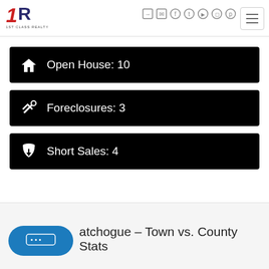1ST CLASS REALTY
Open House: 10
Foreclosures: 3
Short Sales: 4
atchogue - Town vs. County Stats